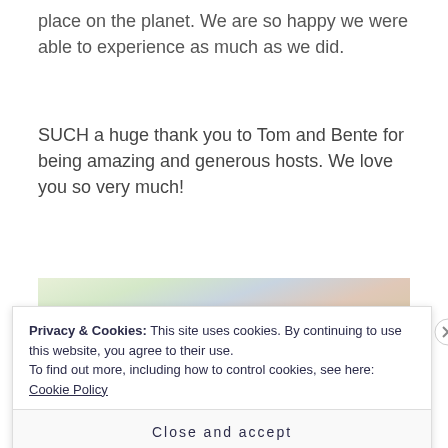place on the planet. We are so happy we were able to experience as much as we did.
SUCH a huge thank you to Tom and Bente for being amazing and generous hosts. We love you so very much!
[Figure (photo): Partial photo of a person, cropped at the top of the page, with colorful background]
Privacy & Cookies: This site uses cookies. By continuing to use this website, you agree to their use.
To find out more, including how to control cookies, see here: Cookie Policy
Close and accept